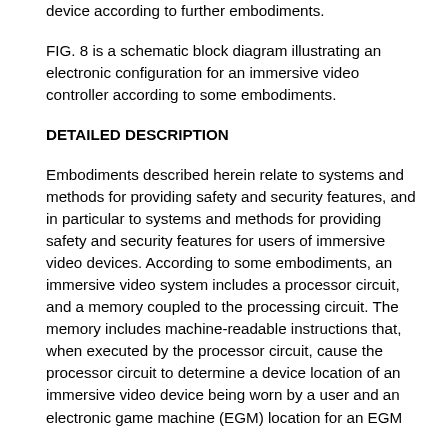FIG. 7 is a perspective view of an electronic gaming device according to further embodiments.
FIG. 8 is a schematic block diagram illustrating an electronic configuration for an immersive video controller according to some embodiments.
DETAILED DESCRIPTION
Embodiments described herein relate to systems and methods for providing safety and security features, and in particular to systems and methods for providing safety and security features for users of immersive video devices. According to some embodiments, an immersive video system includes a processor circuit, and a memory coupled to the processing circuit. The memory includes machine-readable instructions that, when executed by the processor circuit, cause the processor circuit to determine a device location of an immersive video device being worn by a user and an electronic game machine (EGM) location for an EGM associated with the user. The memory further includes machine-readable instructions that, when executed by the processor circuit, cause the processor circuit to determine that the immersive video device is